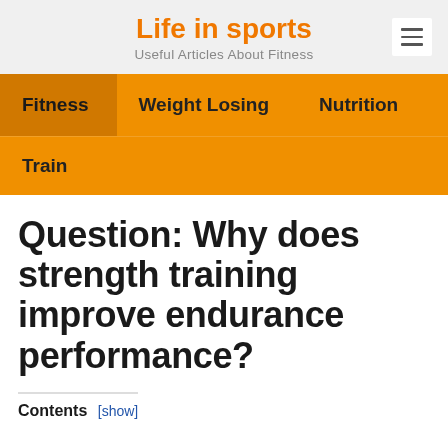Life in sports — Useful Articles About Fitness
Fitness | Weight Losing | Nutrition
Train
Question: Why does strength training improve endurance performance?
Contents [show]